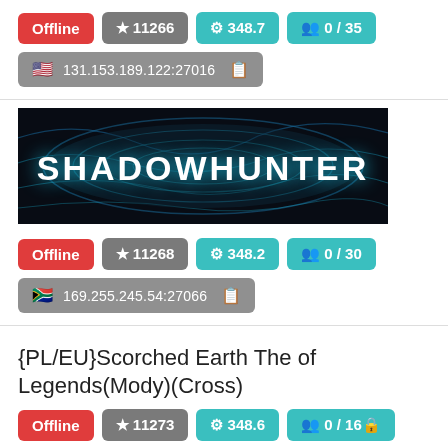Offline  ★ 11266  ⚙ 348.7  👥 0 / 35
🇺🇸 131.153.189.122:27016
[Figure (illustration): SHADOWHUNTER server banner — dark background with blue neon topographic lines and bold white text reading SHADOWHUNTER]
Offline  ★ 11268  ⚙ 348.2  👥 0 / 30
🇿🇦 169.255.245.54:27066
{PL/EU}Scorched Earth The of Legends(Mody)(Cross)
Offline  ★ 11273  ⚙ 348.6  👥 0 / 16 🔒
🇺🇸 46.251.244.125:10778
ArkAeternumGen2